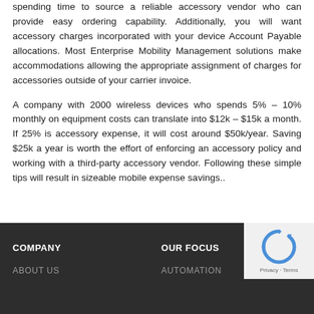spending time to source a reliable accessory vendor who can provide easy ordering capability. Additionally, you will want accessory charges incorporated with your device Account Payable allocations. Most Enterprise Mobility Management solutions make accommodations allowing the appropriate assignment of charges for accessories outside of your carrier invoice.
A company with 2000 wireless devices who spends 5% – 10% monthly on equipment costs can translate into $12k – $15k a month. If 25% is accessory expense, it will cost around $50k/year. Saving $25k a year is worth the effort of enforcing an accessory policy and working with a third-party accessory vendor. Following these simple tips will result in sizeable mobile expense savings..
COMPANY | ABOUT US | OUR FOCUS | AUTOMATION